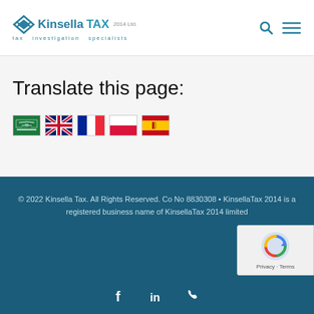[Figure (logo): KinsellaTAX 2014 Ltd logo with diamond/arrow icon, text 'KinsellaTAX 2014 Ltd' and tagline 'tax investigation specialists']
Translate this page:
[Figure (illustration): Five country flag icons: Saudi Arabia, United Kingdom, France, Poland, Spain]
© 2022 Kinsella Tax. All Rights Reserved. Co No 8830308 • KinsellaTax 2014 is a registered business name of KinsellaTax 2014 limited